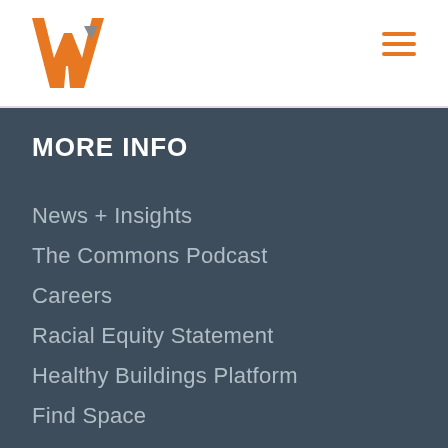[Figure (logo): Orange and gray 'W' logo in the top left header area]
[Figure (other): Orange hamburger menu icon (three horizontal lines) in top right header area]
MORE INFO
News + Insights
The Commons Podcast
Careers
Racial Equity Statement
Healthy Buildings Platform
Find Space
Contact